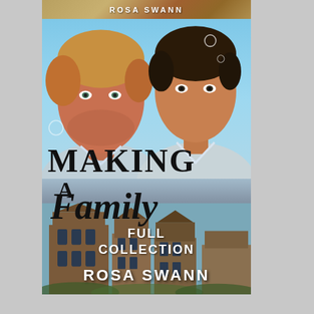[Figure (illustration): Book cover for 'Making a Family: Full Collection' by Rosa Swann. Shows two men (one blonde/ginger on left, one dark-haired on right) against a light blue sky background with Dutch-style buildings at the bottom. Title text 'Making A Family' in large serif/script font, subtitle 'Full Collection' in white caps, author name 'Rosa Swann' at the bottom. A partial top strip shows 'ROSA SWANN' above the main cover.]